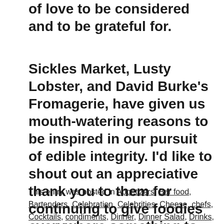of love to be considered and to be grateful for.
Sickles Market, Lusty Lobster, and David Burke’s Fromagerie, have given us mouth-watering reasons to be inspired in our pursuit of edible integrity. I’d like to shout out an appreciative thank you to them for continuing to give foodies everywhere something to chew on.
This entry was posted in Appetizers, Bar food, Bartenders, Celebration, Celebrities, Cheese, chefs, Cocktails, condiments, Dinner, Dinner Salad, Drinks, Events, Fundraiser, Holidays, Jersey